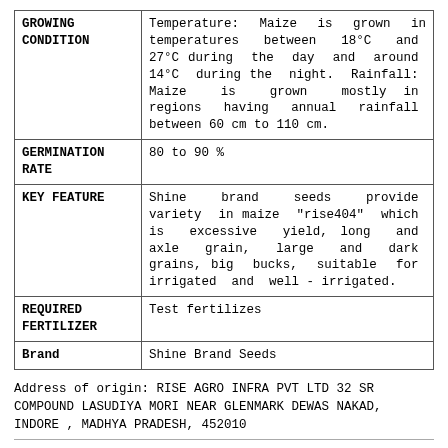| Property | Details |
| --- | --- |
| GROWING CONDITION | Temperature: Maize is grown in temperatures between 18°C and 27°C during the day and around 14°C during the night. Rainfall: Maize is grown mostly in regions having annual rainfall between 60 cm to 110 cm. |
| GERMINATION RATE | 80 to 90 % |
| KEY FEATURE | Shine brand seeds provide variety in maize "rise404" which is excessive yield, long and axle grain, large and dark grains, big bucks, suitable for irrigated and well - irrigated. |
| REQUIRED FERTILIZER | Test fertilizes |
| Brand | Shine Brand Seeds |
Address of origin: RISE AGRO INFRA PVT LTD 32 SR COMPOUND LASUDIYA MORI NEAR GLENMARK DEWAS NAKAD, INDORE , MADHYA PRADESH, 452010